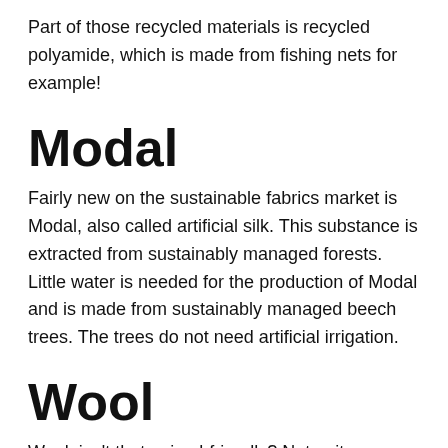Part of those recycled materials is recycled polyamide, which is made from fishing nets for example!
Modal
Fairly new on the sustainable fabrics market is Modal, also called artificial silk. This substance is extracted from sustainably managed forests. Little water is needed for the production of Modal and is made from sustainably managed beech trees. The trees do not need artificial irrigation.
Wool
Wool, isn't that animal-friendly? Not quite. Although the sheep stay alive during shaving, they are often treated in a very bad way. The sheep are mistreated, malnourished and often have serious injuries due to the careless shaving of them.